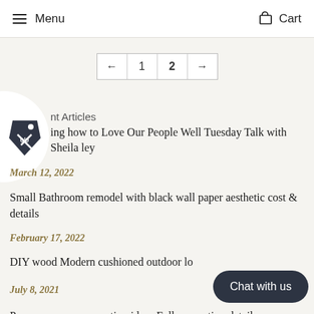Menu   Cart
← 1 2 →
nt Articles
ing how to Love Our People Well Tuesday Talk with Sheila ley
March 12, 2022
Small Bathroom remodel with black wall paper aesthetic cost & details
February 17, 2022
DIY wood Modern cushioned outdoor lo
July 8, 2021
Pop up camper renovation ideas Full renovation details